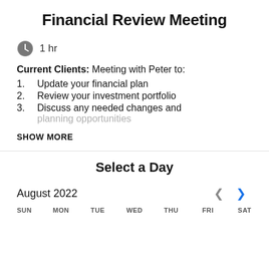Financial Review Meeting
1 hr
Current Clients: Meeting with Peter to:
Update your financial plan
Review your investment portfolio
Discuss any needed changes and planning opportunities
SHOW MORE
Select a Day
August 2022
SUN MON TUE WED THU FRI SAT